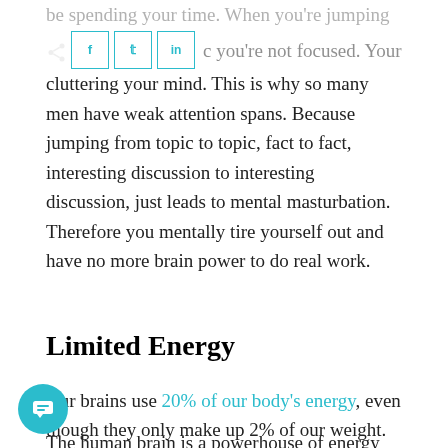be spending your time. When you're jumping from topic to topic you're not focused. Your cluttering your mind. This is why so many men have weak attention spans. Because jumping from topic to topic, fact to fact, interesting discussion to interesting discussion, just leads to mental masturbation. Therefore you mentally tire yourself out and have no more brain power to do real work.
Limited Energy
Our brains use 20% of our body's energy, even though they only make up 2% of our weight.
The human brain is a powerhouse of energy